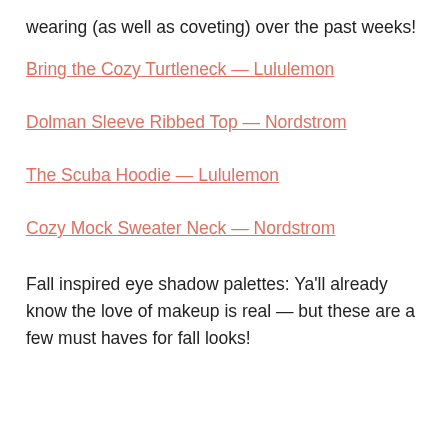wearing (as well as coveting) over the past weeks!
Bring the Cozy Turtleneck — Lululemon
Dolman Sleeve Ribbed Top — Nordstrom
The Scuba Hoodie — Lululemon
Cozy Mock Sweater Neck — Nordstrom
Fall inspired eye shadow palettes: Ya'll already know the love of makeup is real — but these are a few must haves for fall looks!